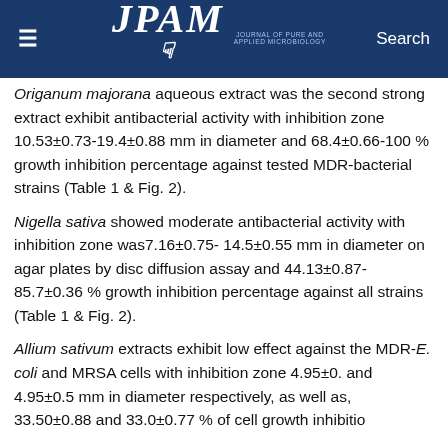≡  JPAM  Search
Origanum majorana aqueous extract was the second strong extract exhibit antibacterial activity with inhibition zone 10.53±0.73-19.4±0.88 mm in diameter and 68.4±0.66-100 % growth inhibition percentage against tested MDR-bacterial strains (Table 1 & Fig. 2).
Nigella sativa showed moderate antibacterial activity with inhibition zone was7.16±0.75- 14.5±0.55 mm in diameter on agar plates by disc diffusion assay and 44.13±0.87-85.7±0.36 % growth inhibition percentage against all strains (Table 1 & Fig. 2).
Allium sativum extracts exhibit low effect against the MDR-E. coli and MRSA cells with inhibition zone 4.95±0. and 4.95±0.5 mm in diameter respectively, as well as, 33.50±0.88 and 33.0±0.77 % of cell growth inhibitio...